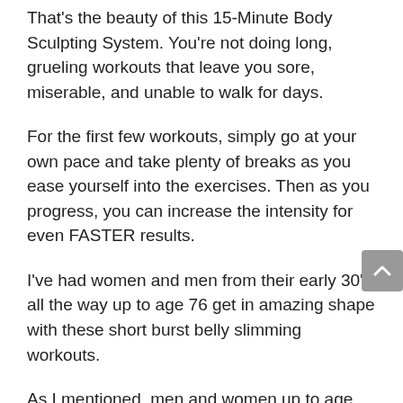That's the beauty of this 15-Minute Body Sculpting System. You're not doing long, grueling workouts that leave you sore, miserable, and unable to walk for days.
For the first few workouts, simply go at your own pace and take plenty of breaks as you ease yourself into the exercises. Then as you progress, you can increase the intensity for even FASTER results.
I've had women and men from their early 30's all the way up to age 76 get in amazing shape with these short burst belly slimming workouts.
As I mentioned, men and women up to age 76 have gotten amazing results with these short, home fat-burning workouts.